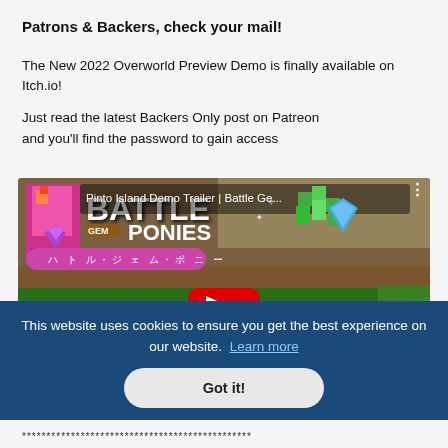Patrons & Backers, check your mail!
The New 2022 Overworld Preview Demo is finally available on Itch.io!
Just read the latest Backers Only post on Patreon and you'll find the password to gain access
[Figure (screenshot): YouTube video thumbnail showing 'Pinto Island Demo Trailer | Battle Ge...' for Battle Gem Ponies game, with a pixelated game scene, play button, and three-dot menu icon]
This website uses cookies to ensure you get the best experience on our website. Learn more
Got it!
***********************************************